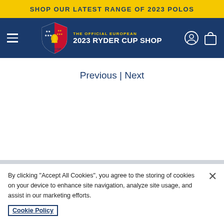SHOP OUR LATEST RANGE OF 2023 POLOS
[Figure (logo): 2023 Ryder Cup official European shop logo with shield emblem and navigation bar including hamburger menu, account icon, and shopping bag icon]
Previous | Next
By clicking “Accept All Cookies”, you agree to the storing of cookies on your device to enhance site navigation, analyze site usage, and assist in our marketing efforts. Cookie Policy